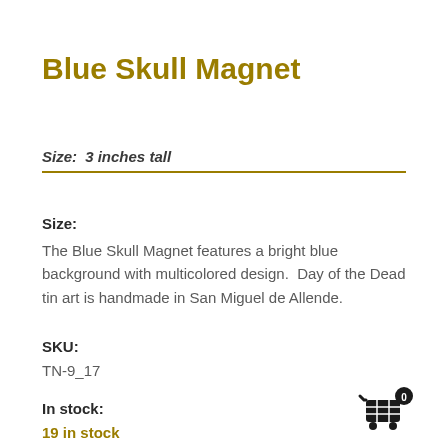Blue Skull Magnet
Size:  3 inches tall
Size:
The Blue Skull Magnet features a bright blue background with multicolored design.  Day of the Dead tin art is handmade in San Miguel de Allende.
SKU:
TN-9_17
In stock:
19 in stock
[Figure (illustration): Shopping cart icon with badge showing 0]